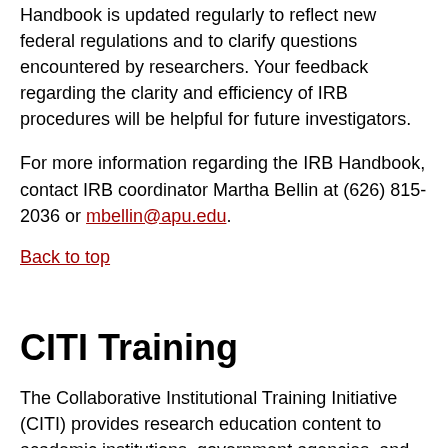Handbook is updated regularly to reflect new federal regulations and to clarify questions encountered by researchers. Your feedback regarding the clarity and efficiency of IRB procedures will be helpful for future investigators.
For more information regarding the IRB Handbook, contact IRB coordinator Martha Bellin at (626) 815-2036 or mbellin@apu.edu.
Back to top
CITI Training
The Collaborative Institutional Training Initiative (CITI) provides research education content to academic institutions, government agencies, and others. APU has a full subscription, so all faculty and students may utilize the helpful CITI curriculum at no cost to support ethical research with human subjects. At APU,